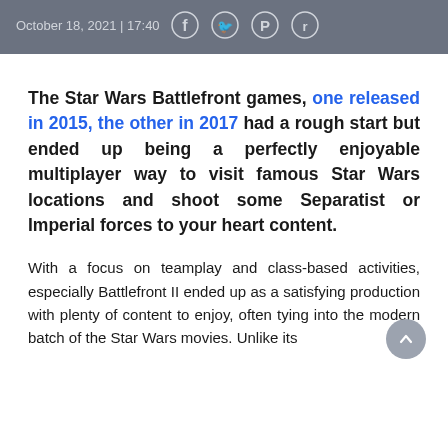October 18, 2021 | 17:40
The Star Wars Battlefront games, one released in 2015, the other in 2017 had a rough start but ended up being a perfectly enjoyable multiplayer way to visit famous Star Wars locations and shoot some Separatist or Imperial forces to your heart content.
With a focus on teamplay and class-based activities, especially Battlefront II ended up as a satisfying production with plenty of content to enjoy, often tying into the modern batch of the Star Wars movies. Unlike its